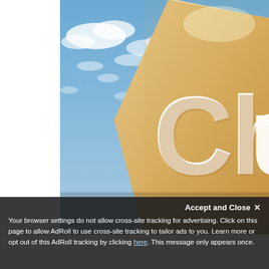[Figure (photo): Close-up photo of a stone or concrete church sign with text reading 'Chu' visible (partially cropped), set against a blue sky with white clouds. The sign is tan/sandy colored with white lettering.]
Accept and Close ✕
Your browser settings do not allow cross-site tracking for advertising. Click on this page to allow AdRoll to use cross-site tracking to tailor ads to you. Learn more or opt out of this AdRoll tracking by clicking here. This message only appears once.